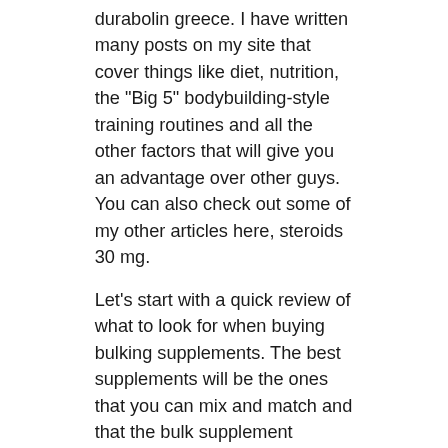durabolin greece. I have written many posts on my site that cover things like diet, nutrition, the "Big 5" bodybuilding-style training routines and all the other factors that will give you an advantage over other guys. You can also check out some of my other articles here, steroids 30 mg.
Let's start with a quick review of what to look for when buying bulking supplements. The best supplements will be the ones that you can mix and match and that the bulk supplement companies can't manufacture (i.e. cheap and bulk). I mean cheap because, once you get the hang of the stuff, the bulk supplies are more than adequate, steroids 30 mg. That's not to say there aren't great supplements, I'll add that as well, but the bulk products will be what you want if